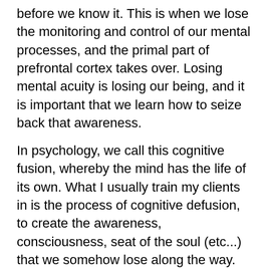before we know it. This is when we lose the monitoring and control of our mental processes, and the primal part of prefrontal cortex takes over. Losing mental acuity is losing our being, and it is important that we learn how to seize back that awareness.
In psychology, we call this cognitive fusion, whereby the mind has the life of its own. What I usually train my clients in is the process of cognitive defusion, to create the awareness, consciousness, seat of the soul (etc...) that we somehow lose along the way.